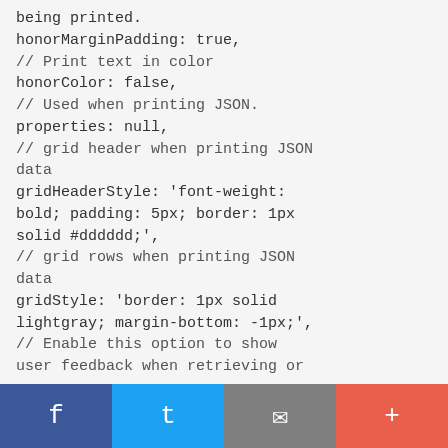being printed.
honorMarginPadding: true,
// Print text in color
honorColor: false,
// Used when printing JSON.
properties: null,
// grid header when printing JSON data
gridHeaderStyle: 'font-weight: bold; padding: 5px; border: 1px solid #dddddd;',
// grid rows when printing JSON data
gridStyle: 'border: 1px solid lightgray; margin-bottom: -1px;',
// Enable this option to show user feedback when retrieving or
[Figure (other): Social share bar with Facebook, Twitter, Email, and Plus buttons]